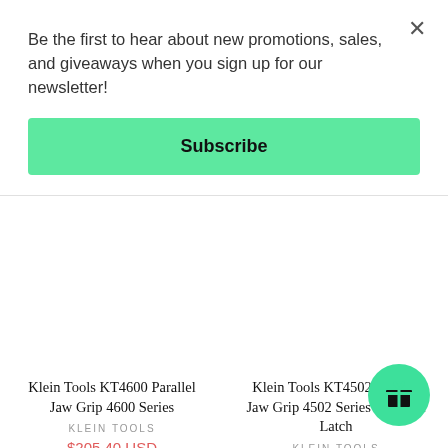Be the first to hear about new promotions, sales, and giveaways when you sign up for our newsletter!
Subscribe
Klein Tools KT4600 Parallel Jaw Grip 4600 Series
KLEIN TOOLS
$205.40 USD
Klein Tools KT4502 Parallel Jaw Grip 4502 Series with Hot Latch
KLEIN TOOLS
$145.80 USD